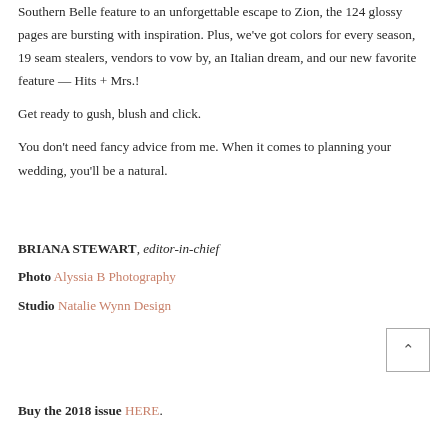Southern Belle feature to an unforgettable escape to Zion, the 124 glossy pages are bursting with inspiration. Plus, we've got colors for every season, 19 seam stealers, vendors to vow by, an Italian dream, and our new favorite feature — Hits + Mrs.!
Get ready to gush, blush and click.
You don't need fancy advice from me. When it comes to planning your wedding, you'll be a natural.
BRIANA STEWART, editor-in-chief
Photo Alyssia B Photography
Studio Natalie Wynn Design
Buy the 2018 issue HERE.